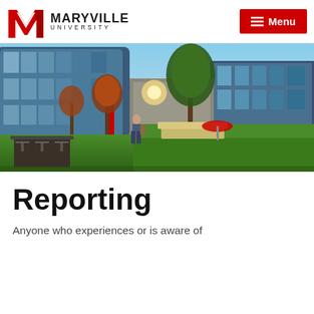MARYVILLE UNIVERSITY — Menu
[Figure (photo): Maryville University campus photo showing modern glass-facade buildings, a tree-lined pathway, green lawn, and a student walking.]
Reporting
Anyone who experiences or is aware of